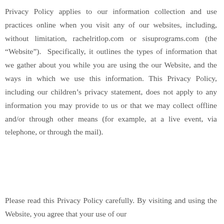Privacy Policy applies to our information collection and use practices online when you visit any of our websites, including, without limitation, rachelritlop.com or sisuprograms.com (the “Website”). Specifically, it outlines the types of information that we gather about you while you are using the our Website, and the ways in which we use this information. This Privacy Policy, including our children’s privacy statement, does not apply to any information you may provide to us or that we may collect offline and/or through other means (for example, at a live event, via telephone, or through the mail).
Please read this Privacy Policy carefully. By visiting and using the Website, you agree that your use of our